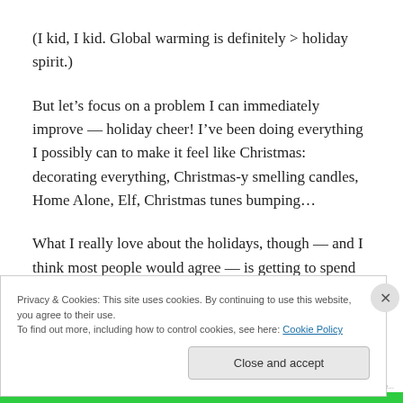(I kid, I kid. Global warming is definitely > holiday spirit.)
But let’s focus on a problem I can immediately improve — holiday cheer! I’ve been doing everything I possibly can to make it feel like Christmas: decorating everything, Christmas-y smelling candles, Home Alone, Elf, Christmas tunes bumping…
What I really love about the holidays, though — and I think most people would agree — is getting to spend time with
Privacy & Cookies: This site uses cookies. By continuing to use this website, you agree to their use.
To find out more, including how to control cookies, see here: Cookie Policy
Close and accept